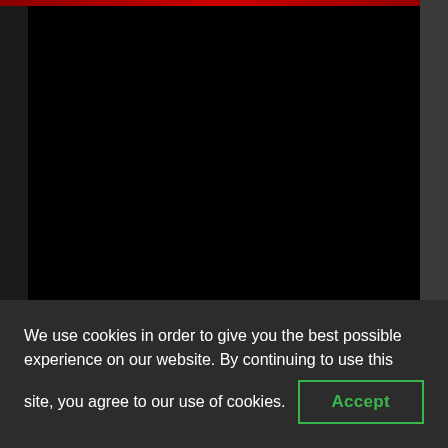[Figure (screenshot): Dark/black video player area with a dark background, part of a website screenshot]
We use cookies in order to give you the best possible experience on our website. By continuing to use this site, you agree to our use of cookies.
Accept